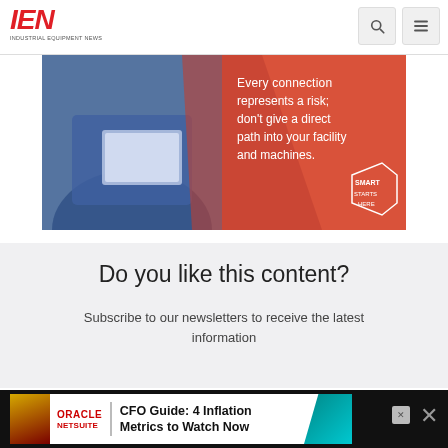IEN - INDUSTRIAL EQUIPMENT NEWS
[Figure (photo): Advertisement banner showing a person using a laptop with red/orange background and text: 'Every connection represents a risk; don't give a direct path into your facility and machines.' with a 'SMART STARTS HERE' badge.]
Do you like this content?
Subscribe to our newsletters to receive the latest information
[Figure (infographic): Oracle NetSuite advertisement banner: CFO Guide: 4 Inflation Metrics to Watch Now]